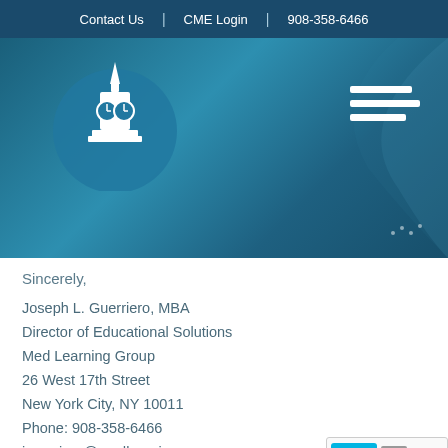Contact Us  |  CME Login  |  908-358-6466
[Figure (screenshot): Med Learning Group website header with blue gradient background, building/clock tower logo in a circle on the left, and hamburger menu icon on the right]
Sincerely,
Joseph L. Guerriero, MBA
Director of Educational Solutions
Med Learning Group
26 West 17th Street
New York City, NY 10011
Phone: 908-358-6466
jguerriero@medlearninggroup.com
www.medlearninggroup.com